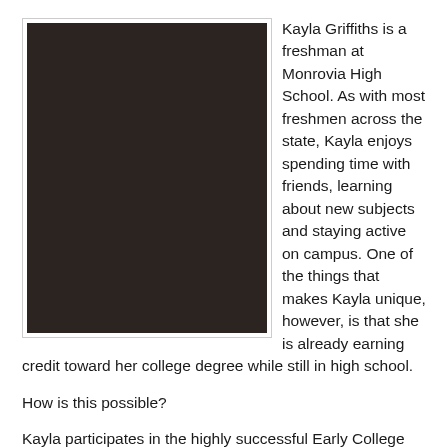[Figure (photo): Portrait photo of Kayla Griffiths, a young woman with dark shoulder-length hair with bangs, wearing a black outfit, against a dark background.]
Kayla Griffiths is a freshman at Monrovia High School. As with most freshmen across the state, Kayla enjoys spending time with friends, learning about new subjects and staying active on campus. One of the things that makes Kayla unique, however, is that she is already earning credit toward her college degree while still in high school.
How is this possible?
Kayla participates in the highly successful Early College program, a partnership between Citrus College and the